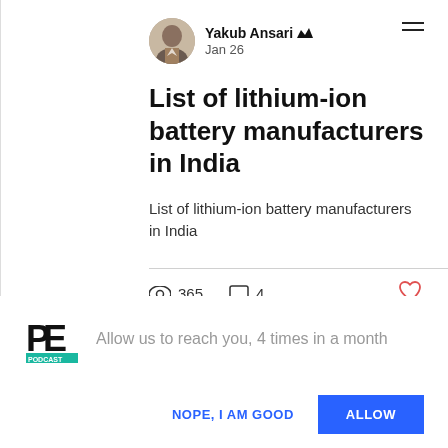[Figure (screenshot): Social media post card by Yakub Ansari dated Jan 26 with hamburger menu icon, showing post title and excerpt about lithium-ion battery manufacturers in India, with view count 365, comment count 4, and a heart icon]
List of lithium-ion battery manufacturers in India
List of lithium-ion battery manufacturers in India
Allow us to reach you, 4 times in a month
NOPE, I AM GOOD
ALLOW